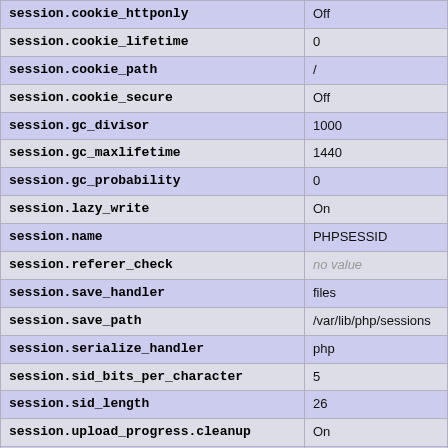| Directive | Value |
| --- | --- |
| session.cookie_httponly | Off |
| session.cookie_lifetime | 0 |
| session.cookie_path | / |
| session.cookie_secure | Off |
| session.gc_divisor | 1000 |
| session.gc_maxlifetime | 1440 |
| session.gc_probability | 0 |
| session.lazy_write | On |
| session.name | PHPSESSID |
| session.referer_check | no value |
| session.save_handler | files |
| session.save_path | /var/lib/php/sessions |
| session.serialize_handler | php |
| session.sid_bits_per_character | 5 |
| session.sid_length | 26 |
| session.upload_progress.cleanup | On |
| session.upload_progress.enabled | On |
| session.upload_progress.freq | 1% |
| session.upload_progress.min_freq | 1 |
| session.upload_progress.name | PHP_SESSION_UPL... |